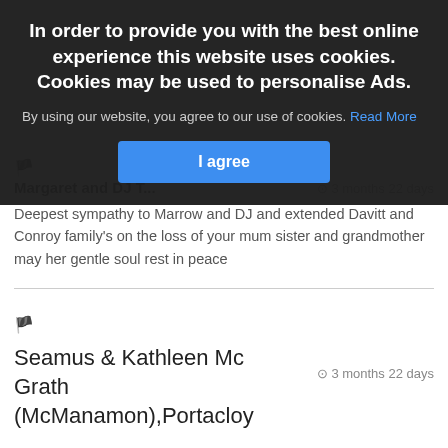In order to provide you with the best online experience this website uses cookies. Cookies may be used to personalise Ads.
By using our website, you agree to our use of cookies. Read More
I agree
Margaret and DJ T... 3 months 22 days
Deepest sympathy to Marrow and DJ and extended Davitt and Conroy family's on the loss of your mum sister and grandmother may her gentle soul rest in peace
Seamus & Kathleen Mc Grath (McManamon),Portacloy
3 months 22 days
Deepest sympathy to the Davitt, Coyle and extended families on the sad passing of Mary. May she rest in peace.